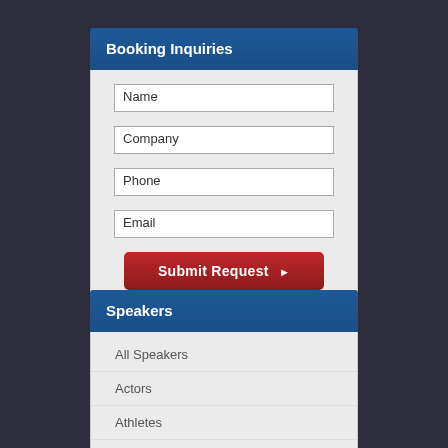Booking Inquiries
Name
Company
Phone
Email
Submit Request ▶
Speakers
All Speakers
Actors
Athletes
Authors